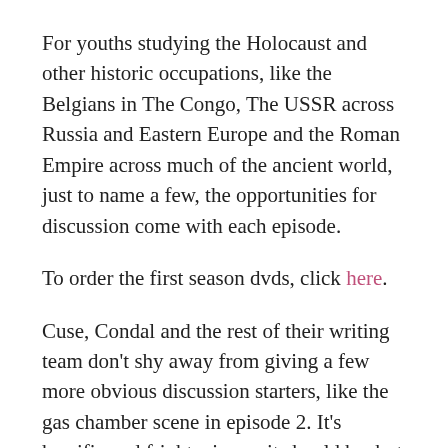For youths studying the Holocaust and other historic occupations, like the Belgians in The Congo, The USSR across Russia and Eastern Europe and the Roman Empire across much of the ancient world, just to name a few, the opportunities for discussion come with each episode.
To order the first season dvds, click here.
Cuse, Condal and the rest of their writing team don't shy away from giving a few more obvious discussion starters, like the gas chamber scene in episode 2. It's horrific and frightening as it should be, but what should be just as frightening is seeing weak and fearful human beings turn so quickly against one another. Watching COLONY has the potential to draw out more reflection in those who might be bored by a history they think they